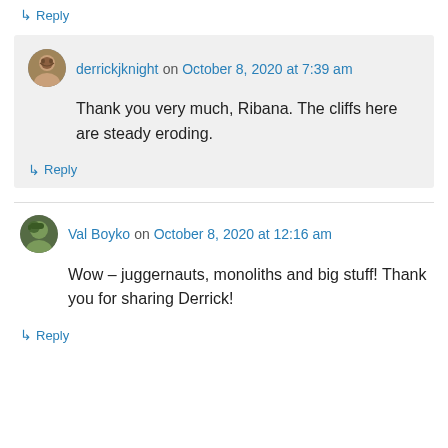↳ Reply
derrickjknight on October 8, 2020 at 7:39 am
Thank you very much, Ribana. The cliffs here are steady eroding.
↳ Reply
Val Boyko on October 8, 2020 at 12:16 am
Wow – juggernauts, monoliths and big stuff! Thank you for sharing Derrick!
↳ Reply